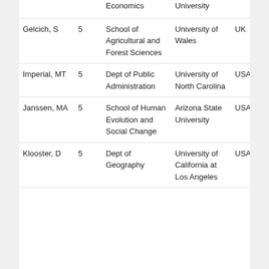|  |  | Economics | University |  |
| Gelcich, S | 5 | School of Agricultural and Forest Sciences | University of Wales | UK |
| Imperial, MT | 5 | Dept of Public Administration | University of North Carolina | USA |
| Janssen, MA | 5 | School of Human Evolution and Social Change | Arizona State University | USA |
| Klooster, D | 5 | Dept of Geography | University of California at Los Angeles | USA |